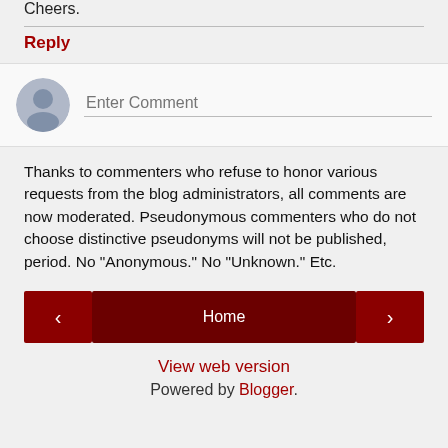Cheers.
Reply
[Figure (other): Comment input box with user avatar (grey silhouette) and placeholder text 'Enter Comment']
Thanks to commenters who refuse to honor various requests from the blog administrators, all comments are now moderated. Pseudonymous commenters who do not choose distinctive pseudonyms will not be published, period. No "Anonymous." No "Unknown." Etc.
Home
View web version
Powered by Blogger.